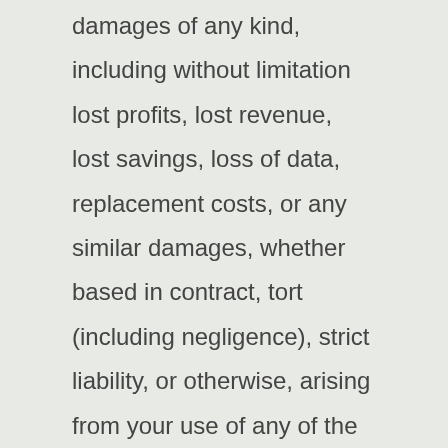damages of any kind, including without limitation lost profits, lost revenue, lost savings, loss of data, replacement costs, or any similar damages, whether based in contract, tort (including negligence), strict liability, or otherwise, arising from your use of any of the service or any products procured using the service, or for any other claim related in any way to your use of the service or any product, including, but not limited to, any errors or omissions in any content, or any loss or damage of any kind incurred as a result of the use of the service or any content (or product) posted, transmitted, or otherwise made available via the service, even if advised of their possibility. We will also not be held responsible for injuries sustained